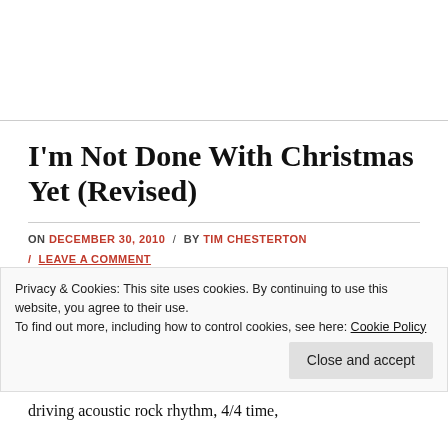I'm Not Done With Christmas Yet (Revised)
ON DECEMBER 30, 2010 / BY TIM CHESTERTON / LEAVE A COMMENT
Privacy & Cookies: This site uses cookies. By continuing to use this website, you agree to their use.
To find out more, including how to control cookies, see here: Cookie Policy
Close and accept
driving acoustic rock rhythm, 4/4 time,